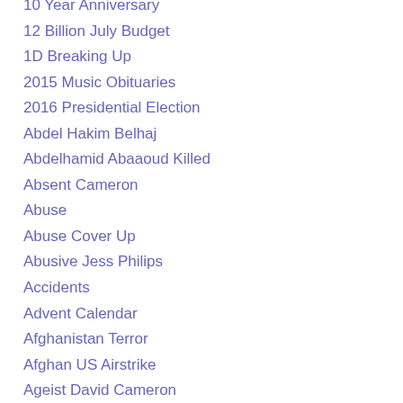10 Year Anniversary
12 Billion July Budget
1D Breaking Up
2015 Music Obituaries
2016 Presidential Election
Abdel Hakim Belhaj
Abdelhamid Abaaoud Killed
Absent Cameron
Abuse
Abuse Cover Up
Abusive Jess Philips
Accidents
Advent Calendar
Afghanistan Terror
Afghan US Airstrike
Ageist David Cameron
Agency Nursing Staff
Agent Orange